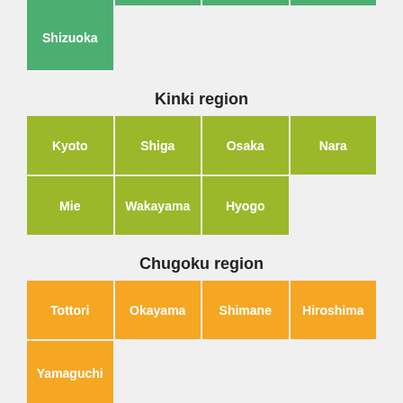[Figure (infographic): Partial grid showing Shizuoka prefecture cell in green at top]
Kinki region
[Figure (infographic): Grid of Kinki region prefectures: Kyoto, Shiga, Osaka, Nara, Mie, Wakayama, Hyogo in olive/yellow-green color]
Chugoku region
[Figure (infographic): Grid of Chugoku region prefectures: Tottori, Okayama, Shimane, Hiroshima, Yamaguchi in orange color]
Shikoku region